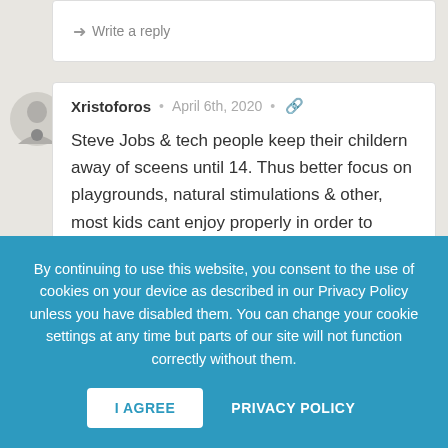→ Write a reply
Xristoforos • April 6th, 2020 • 🔗
Steve Jobs & tech people keep their childern away of sceens until 14. Thus better focus on playgrounds, natural stimulations & other, most kids cant enjoy properly in order to develop them selfs in
By continuing to use this website, you consent to the use of cookies on your device as described in our Privacy Policy unless you have disabled them. You can change your cookie settings at any time but parts of our site will not function correctly without them.
I AGREE
PRIVACY POLICY